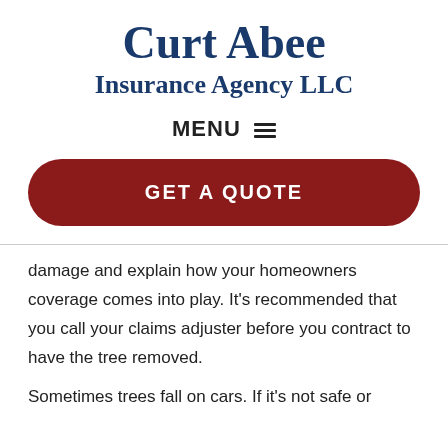Curt Abee
Insurance Agency LLC
MENU ≡
[Figure (other): GET A QUOTE button — dark red rounded rectangle button with white bold text]
damage and explain how your homeowners coverage comes into play. It's recommended that you call your claims adjuster before you contract to have the tree removed.
Sometimes trees fall on cars. If it's not safe or